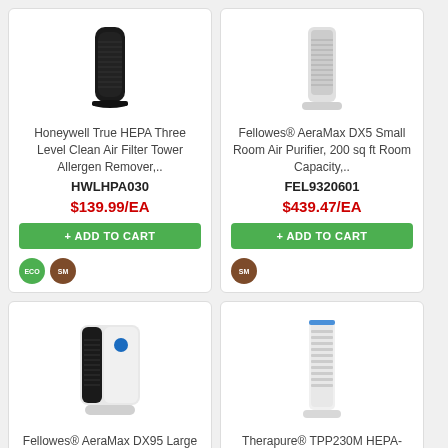[Figure (photo): Honeywell True HEPA tower air purifier, black cylindrical shape]
Honeywell True HEPA Three Level Clean Air Filter Tower Allergen Remover,..
HWLHPA030
$139.99/EA
+ ADD TO CART
[Figure (photo): Fellowes AeraMax DX5 small room air purifier, white/grey tower shape]
Fellowes® AeraMax DX5 Small Room Air Purifier, 200 sq ft Room Capacity,..
FEL9320601
$439.47/EA
+ ADD TO CART
[Figure (photo): Fellowes AeraMax DX95 large room air purifier, white and black box shape]
Fellowes® AeraMax DX95 Large Room Air Purifier,
[Figure (photo): Therapure TPP230M HEPA-Type air purifier, white tower shape with grille]
Therapure® TPP230M HEPA-Type Air Purifier,